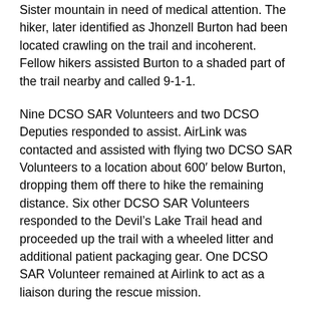Sister mountain in need of medical attention. The hiker, later identified as Jhonzell Burton had been located crawling on the trail and incoherent. Fellow hikers assisted Burton to a shaded part of the trail nearby and called 9-1-1.
Nine DCSO SAR Volunteers and two DCSO Deputies responded to assist. AirLink was contacted and assisted with flying two DCSO SAR Volunteers to a location about 600′ below Burton, dropping them off there to hike the remaining distance. Six other DCSO SAR Volunteers responded to the Devil's Lake Trail head and proceeded up the trail with a wheeled litter and additional patient packaging gear. One DCSO SAR Volunteer remained at Airlink to act as a liaison during the rescue mission.
The two DCSO SAR Volunteers dropped off by AirLink, contacted Burton at about 2:30pm and began providing medical assistance. Burton was located at about 8,600′ elevation. At about 3:30pm, with the assistance of hikers in